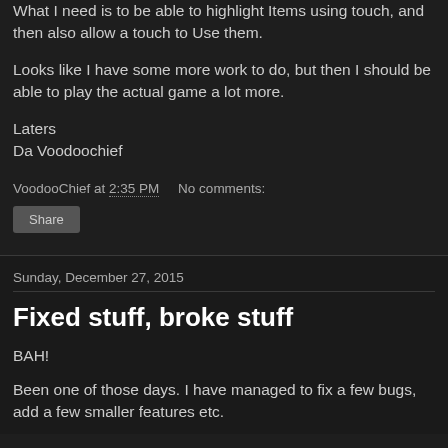What I need is to be able to highlight Items using touch, and then also allow a touch to Use them.
Looks like I have some more work to do, but then I should be able to play the actual game a lot more.
Laters
Da Voodoochief
VoodooChief at 2:35 PM    No comments:
Share
Sunday, December 27, 2015
Fixed stuff, broke stuff
BAH!
Been one of those days. I have managed to fix a few bugs, add a few smaller features etc.